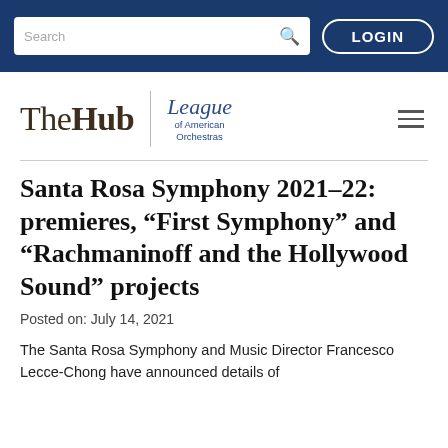Search | LOGIN
[Figure (logo): The Hub | League of American Orchestras logo with hamburger menu]
Santa Rosa Symphony 2021–22: premieres, “First Symphony” and “Rachmaninoff and the Hollywood Sound” projects
Posted on: July 14, 2021
The Santa Rosa Symphony and Music Director Francesco Lecce-Chong have announced details of